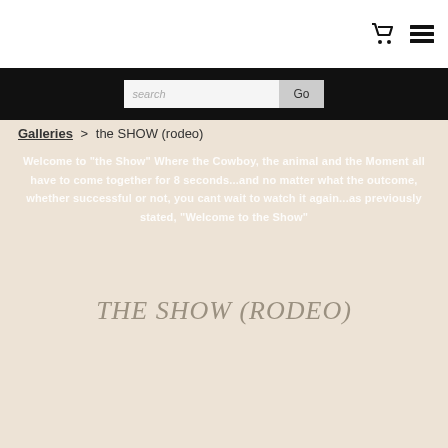search | Go
Galleries > the SHOW (rodeo)
Welcome to "the Show" Where the Cowboy, the animal and the Moment all have to come together for 8 seconds...and no matter what the outcome, whether successful or not, you cant wait to watch it again...as previously stated, "Welcome to the Show"
THE SHOW (RODEO)
[Figure (photo): Close-up photo of a horse's head viewed from above through blue metal fence/chute rails, with an AR Compatible badge overlay at the bottom center]